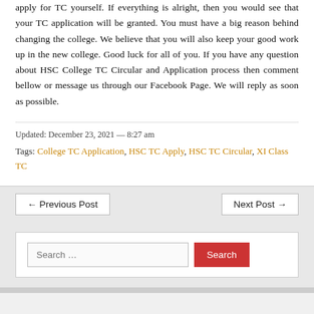apply for TC yourself. If everything is alright, then you would see that your TC application will be granted. You must have a big reason behind changing the college. We believe that you will also keep your good work up in the new college. Good luck for all of you. If you have any question about HSC College TC Circular and Application process then comment bellow or message us through our Facebook Page. We will reply as soon as possible.
Updated: December 23, 2021 — 8:27 am
Tags: College TC Application, HSC TC Apply, HSC TC Circular, XI Class TC
← Previous Post
Next Post →
Search …